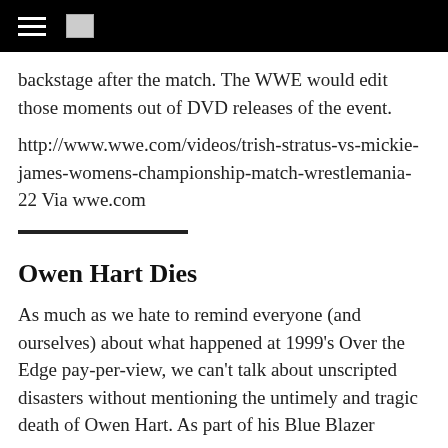[navigation bar with hamburger menu and logo]
backstage after the match. The WWE would edit those moments out of DVD releases of the event.
http://www.wwe.com/videos/trish-stratus-vs-mickie-james-womens-championship-match-wrestlemania-22 Via wwe.com
Owen Hart Dies
As much as we hate to remind everyone (and ourselves) about what happened at 1999's Over the Edge pay-per-view, we can't talk about unscripted disasters without mentioning the untimely and tragic death of Owen Hart. As part of his Blue Blazer